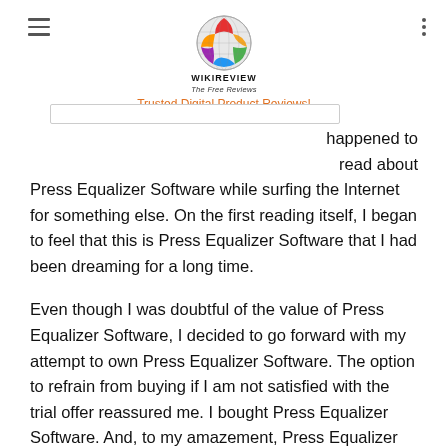WIKIREVIEW The Free Reviews — Trusted Digital Product Reviews!
happened to read about Press Equalizer Software while surfing the Internet for something else. On the first reading itself, I began to feel that this is Press Equalizer Software that I had been dreaming for a long time.
Even though I was doubtful of the value of Press Equalizer Software, I decided to go forward with my attempt to own Press Equalizer Software. The option to refrain from buying if I am not satisfied with the trial offer reassured me. I bought Press Equalizer Software. And, to my amazement, Press Equalizer Software exceeded all my expectations from an average product which I felt would fulfill my requirement for the time being.